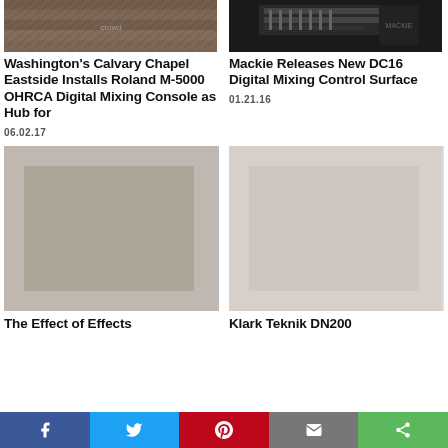[Figure (photo): Crowd of people in an auditorium viewed from above]
[Figure (photo): Mackie DC16 Digital Mixing Control Surface device, dark background]
Washington's Calvary Chapel Eastside Installs Roland M-5000 OHRCA Digital Mixing Console as Hub for
06.02.17
Mackie Releases New DC16 Digital Mixing Control Surface
01.21.16
[Figure (photo): Bottom left article image (partially visible)]
[Figure (photo): Bottom right article image (partially visible)]
The Effect of Effects
Klark Teknik DN200
Facebook  Twitter  Pinterest  Email  Share